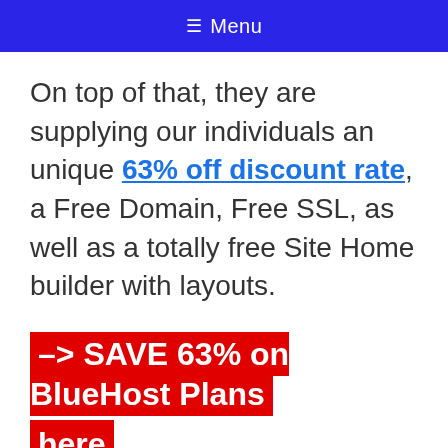≡ Menu
On top of that, they are supplying our individuals an unique 63% off discount rate, a Free Domain, Free SSL, as well as a totally free Site Home builder with layouts.
–> SAVE 63% on BlueHost Plans here